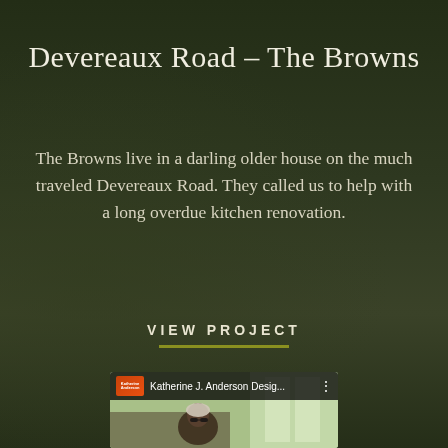Devereaux Road – The Browns
The Browns live in a darling older house on the much traveled Devereaux Road. They called us to help with a long overdue kitchen renovation.
VIEW PROJECT
[Figure (screenshot): Video thumbnail showing Katherine J. Anderson Desig... with channel logo and person visible]